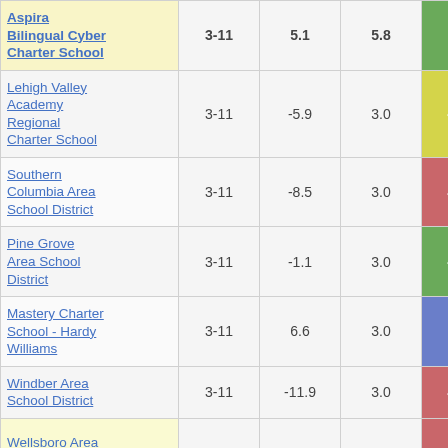| School/District | Grades | Col3 | Col4 | Score |
| --- | --- | --- | --- | --- |
| Aspira Bilingual Cyber Charter School | 3-11 | 5.1 | 5.8 | 0.87 |
| Lehigh Valley Academy Regional Charter School | 3-11 | -5.9 | 3.0 | -1.98 |
| Southern Columbia Area School District | 3-11 | -8.5 | 3.0 | -2.83 |
| Pine Grove Area School District | 3-11 | -1.1 | 3.0 | -0.36 |
| Mastery Charter School - Hardy Williams | 3-11 | 6.6 | 3.0 | 2.21 |
| Windber Area School District | 3-11 | -11.9 | 3.0 | -3.94 |
| Wellsboro Area | 3-11 | ... | 3.0 | ... |